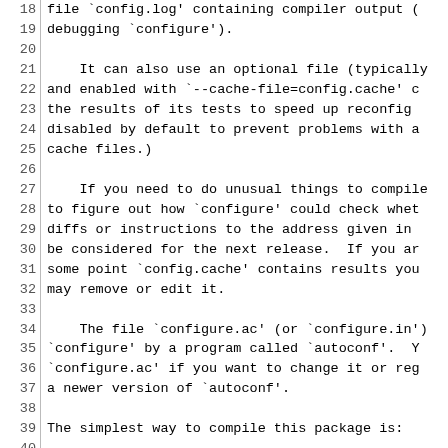Lines 18-47 of a configure/install text file showing instructions for compiling a package, including information about config.log, config.cache, configure.ac, and compilation steps.